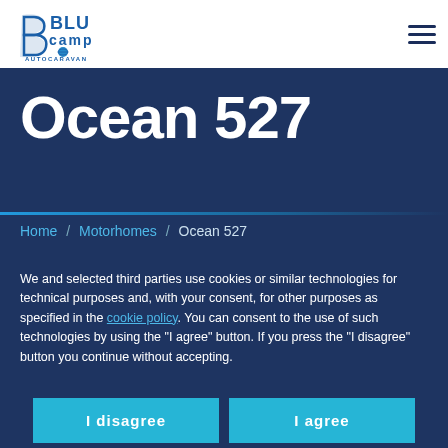BluCamp Autocaravan — navigation header with logo and menu icon
Ocean 527
Home / Motorhomes / Ocean 527
We and selected third parties use cookies or similar technologies for technical purposes and, with your consent, for other purposes as specified in the cookie policy. You can consent to the use of such technologies by using the "I agree" button. If you press the "I disagree" button you continue without accepting.
I disagree
I agree